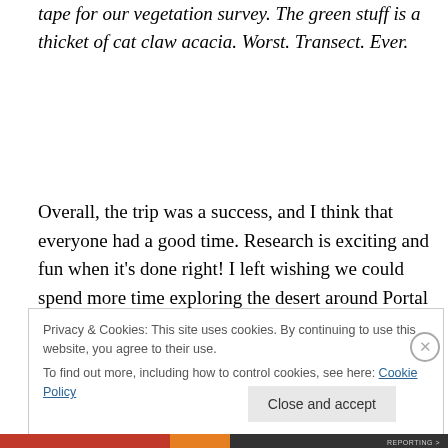tape for our vegetation survey. The green stuff is a thicket of cat claw acacia. Worst. Transect. Ever.
Overall, the trip was a success, and I think that everyone had a good time. Research is exciting and fun when it's done right! I left wishing we could spend more time exploring the desert around Portal and learning more about the natural environmental gradients that might be an
Privacy & Cookies: This site uses cookies. By continuing to use this website, you agree to their use.
To find out more, including how to control cookies, see here: Cookie Policy
Close and accept